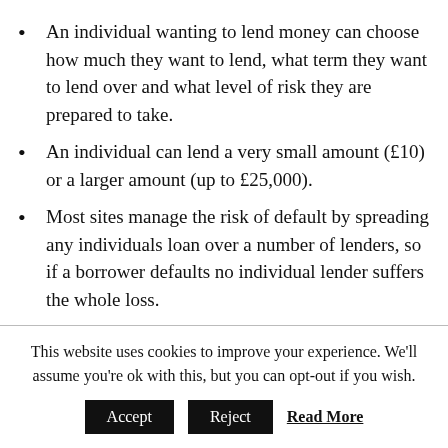An individual wanting to lend money can choose how much they want to lend, what term they want to lend over and what level of risk they are prepared to take.
An individual can lend a very small amount (£10) or a larger amount (up to £25,000).
Most sites manage the risk of default by spreading any individuals loan over a number of lenders, so if a borrower defaults no individual lender suffers the whole loss.
Who are the main players?
This website uses cookies to improve your experience. We'll assume you're ok with this, but you can opt-out if you wish.